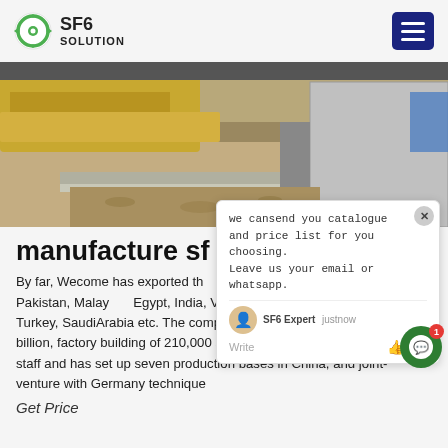SF6 SOLUTION
[Figure (photo): Outdoor industrial scene with machinery and ground, partial view of equipment and a blue container in background.]
manufacture sf 6 is E
By far, Wecome has exported their products to Iran, Russian, UAE, Pakistan, Malaysia, Egypt, India, Vietnam, Indonesia, Kazakhstan, Turkey, SaudiArabia etc. The company has a total asset of RMB1.5 billion, factory building of 210,000 square meters in area, over 3000 staff and has set up seven production bases in China, and joint-venture with Germany technique
Get Price